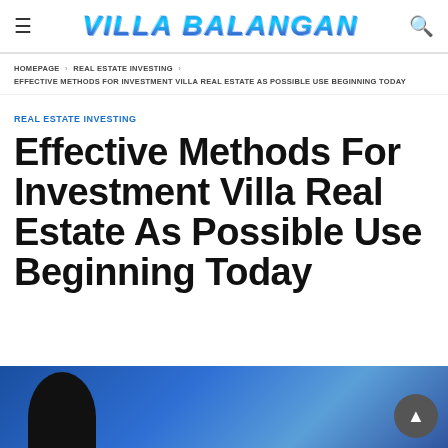VILLA BALANGAN
HOMEPAGE › REAL ESTATE INVESTING › EFFECTIVE METHODS FOR INVESTMENT VILLA REAL ESTATE AS POSSIBLE USE BEGINNING TODAY
REAL ESTATE INVESTING
Effective Methods For Investment Villa Real Estate As Possible Use Beginning Today
[Figure (photo): Blurred blue background photo with a dark silhouette of a person, related to real estate investing article]